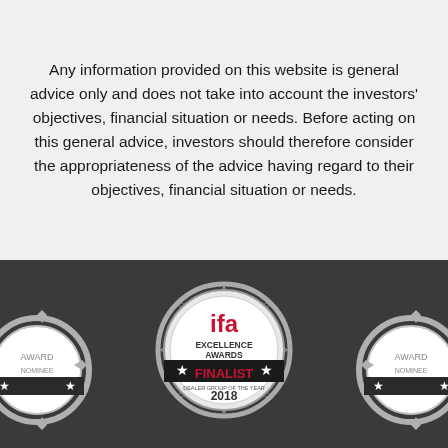Any information provided on this website is general advice only and does not take into account the investors' objectives, financial situation or needs. Before acting on this general advice, investors should therefore consider the appropriateness of the advice having regard to their objectives, financial situation or needs.
[Figure (logo): IFA Excellence Awards Finalist 2018 badge in the center, flanked by two partially visible award badges on the left and right, on a dark grey background.]